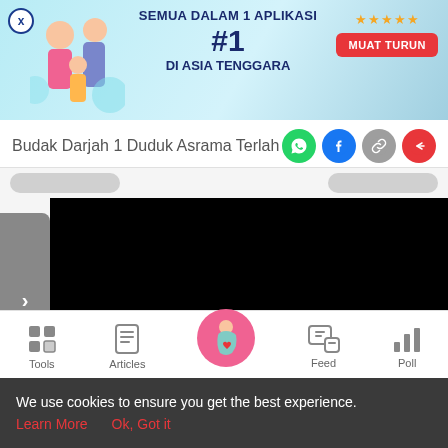[Figure (screenshot): App advertisement banner with family illustration. Text reads SEMUA DALAM 1 APLIKASI #1 DI ASIA TENGGARA with star ratings and MUAT TURUN button. Close X button top left.]
Budak Darjah 1 Duduk Asrama Terlah
[Figure (screenshot): Navigation tabs area with two gray pill-shaped tab buttons]
[Figure (screenshot): Content area with sidebar gray arrow button showing > and a black redacted/blurred video rectangle]
[Figure (screenshot): Bottom navigation bar with Tools, Articles, Home (pregnant woman icon in pink circle), Feed, and Poll icons]
We use cookies to ensure you get the best experience.
Learn More   Ok, Got it